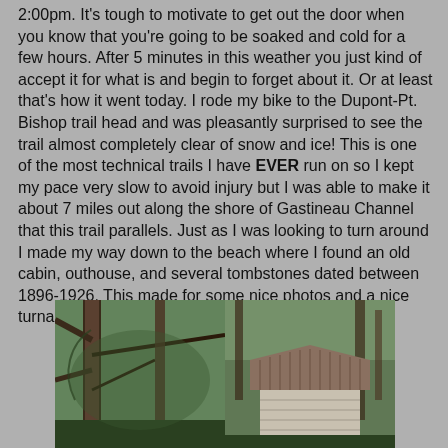2:00pm. It's tough to motivate to get out the door when you know that you're going to be soaked and cold for a few hours. After 5 minutes in this weather you just kind of accept it for what is and begin to forget about it. Or at least that's how it went today. I rode my bike to the Dupont-Pt. Bishop trail head and was pleasantly surprised to see the trail almost completely clear of snow and ice! This is one of the most technical trails I have EVER run on so I kept my pace very slow to avoid injury but I was able to make it about 7 miles out along the shore of Gastineau Channel that this trail parallels. Just as I was looking to turn around I made my way down to the beach where I found an old cabin, outhouse, and several tombstones dated between 1896-1926. This made for some nice photos and a nice turnaround point. Al Sharpton is a jackass
[Figure (photo): Two outdoor photos side by side: left shows large trees in a forest with fallen branches; right shows a weathered old wooden cabin or outhouse structure with a slanted wooden roof surrounded by green forest.]